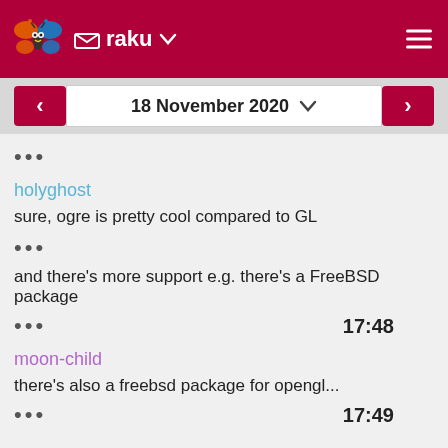raku
18 November 2020
...
holyghost
sure, ogre is pretty cool compared to GL
...
and there's more support e.g. there's a FreeBSD package
... 17:48
moon-child
there's also a freebsd package for opengl...
... 17:49